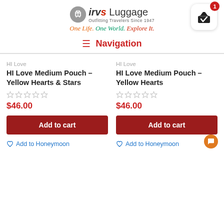[Figure (logo): Irv's Luggage logo with suitcase icon, tagline 'One Life. One World. Explore It.' and shopping cart icon with badge showing 1]
Navigation
HI Love
HI Love Medium Pouch – Yellow Hearts & Stars
$46.00
Add to cart
HI Love
HI Love Medium Pouch – Yellow Hearts
$46.00
Add to cart
Add to Honeymoon
Add to Honeymoon